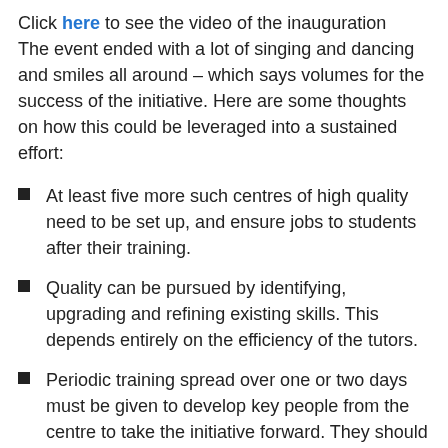Click here to see the video of the inauguration
The event ended with a lot of singing and dancing and smiles all around – which says volumes for the success of the initiative. Here are some thoughts on how this could be leveraged into a sustained effort:
At least five more such centres of high quality need to be set up, and ensure jobs to students after their training.
Quality can be pursued by identifying, upgrading and refining existing skills. This depends entirely on the efficiency of the tutors.
Periodic training spread over one or two days must be given to develop key people from the centre to take the initiative forward. They should be competent in working both on GNU / Linux and Windows
A six-month curriculum with all the exercises tried out, should be tried out…